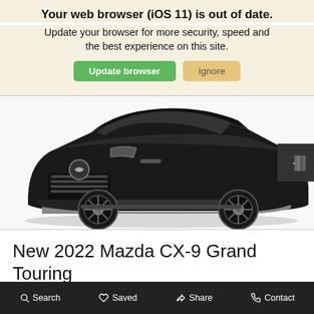Your web browser (iOS 11) is out of date.
Update your browser for more security, speed and the best experience on this site.
Update browser   Ignore
[Figure (photo): Front three-quarter view of a dark gray/black 2022 Mazda CX-9 Grand Touring SUV on a white background, with a right-arrow navigation control visible on the right edge.]
New 2022 Mazda CX-9 Grand Touring
Search   Saved   Share   Contact